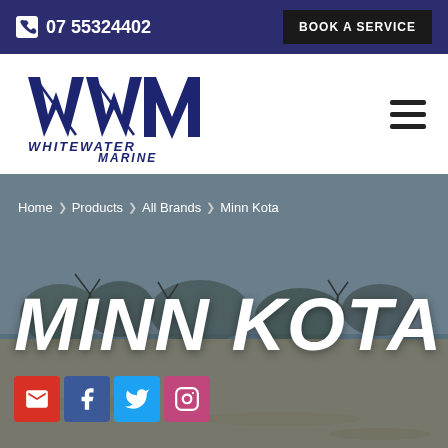07 55324402 | BOOK A SERVICE
[Figure (logo): Whitewater Marine WWM logo in dark navy blue with italic text]
[Figure (photo): Outdoor coastal/beach scene with sandy shore, bare trees and grey sky used as hero background image]
Home > Products > All Brands > Minn Kota
MINN KOTA
[Figure (infographic): Social media icons row: email (red), Facebook (blue), Twitter (light blue), Instagram (pink/purple)]